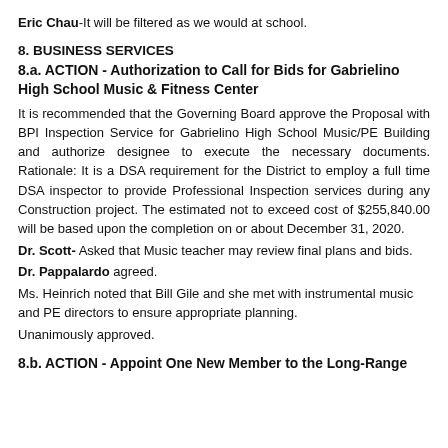Eric Chau-It will be filtered as we would at school.
8. BUSINESS SERVICES
8.a. ACTION - Authorization to Call for Bids for Gabrielino High School Music & Fitness Center
It is recommended that the Governing Board approve the Proposal with BPI Inspection Service for Gabrielino High School Music/PE Building and authorize designee to execute the necessary documents. Rationale: It is a DSA requirement for the District to employ a full time DSA inspector to provide Professional Inspection services during any Construction project. The estimated not to exceed cost of $255,840.00 will be based upon the completion on or about December 31, 2020.
Dr. Scott- Asked that Music teacher may review final plans and bids.
Dr. Pappalardo agreed.
Ms. Heinrich noted that Bill Gile and she met with instrumental music and PE directors to ensure appropriate planning.
Unanimously approved.
8.b. ACTION - Appoint One New Member to the Long-Range